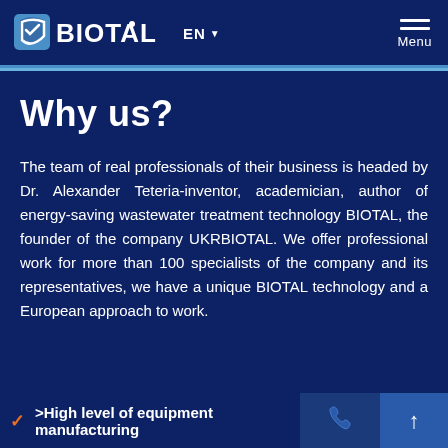BIOTAL | EN | Menu
Why us?
The team of real professionals of their business is headed by Dr. Alexander Teteria-inventor, academician, author of energy-saving wastewater treatment technology BIOTAL, the founder of the company UKRBIOTAL. We offer professional work for more than 100 specialists of the company and its representatives, we have a unique BIOTAL technology and a European approach to work.
>High level of equipment manufacturing